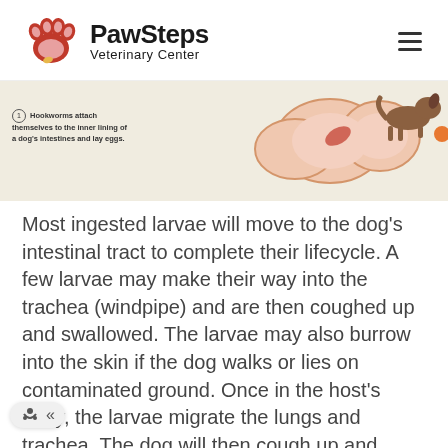PawSteps Veterinary Center
[Figure (illustration): Medical diagram showing hookworms attached to the inner lining of a dog's intestines. A caption reads: Hookworms attach themselves to the inner lining of a dog's intestines and lay eggs.]
Hookworms attach themselves to the inner lining of a dog's intestines and lay eggs.
Most ingested larvae will move to the dog's intestinal tract to complete their lifecycle. A few larvae may make their way into the trachea (windpipe) and are then coughed up and swallowed. The larvae may also burrow into the skin if the dog walks or lies on contaminated ground. Once in the host's body, the larvae migrate the lungs and trachea. The dog will then cough up and swallow the larvae which then migrate to the